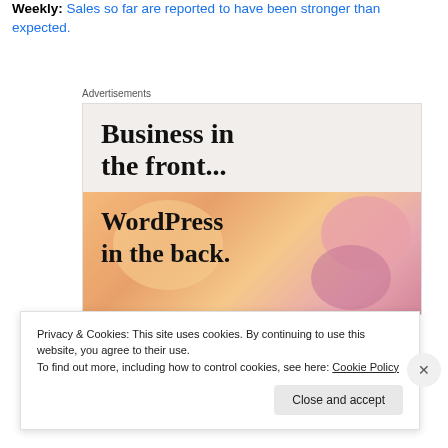Weekly: Sales so far are reported to have been stronger than expected.
[Figure (other): Advertisement section with two parts: top grey area with bold serif text 'Business in the front...' and bottom colorful gradient area with bold serif text 'WordPress in the back.' featuring abstract blob shapes in orange, peach and pink tones.]
Privacy & Cookies: This site uses cookies. By continuing to use this website, you agree to their use.
To find out more, including how to control cookies, see here: Cookie Policy